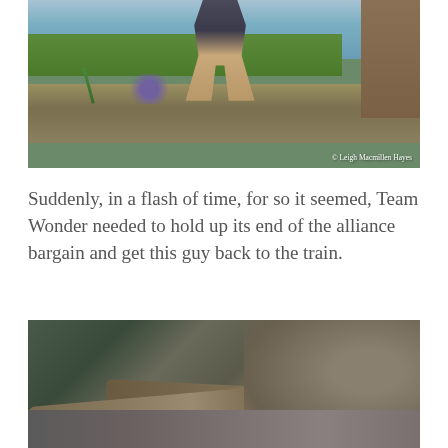[Figure (photo): Outdoor photo of a person's legs visible above a stone wall, with green grass and water in the background and a wooden structure on the right. Copyright watermark reads '© Leigh Macmillen Hayes'.]
Suddenly, in a flash of time, for so it seemed, Team Wonder needed to hold up its end of the alliance bargain and get this guy back to the train.
[Figure (photo): Outdoor photo showing driftwood logs and rocks along a shoreline or riverbank.]